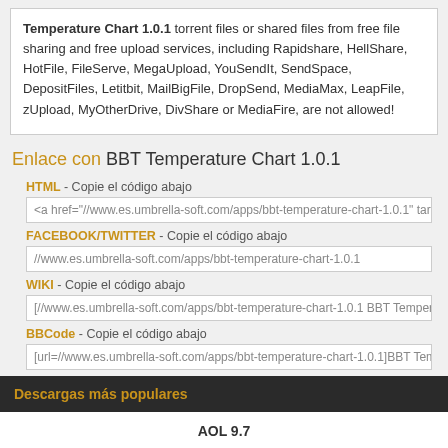Temperature Chart 1.0.1 torrent files or shared files from free file sharing and free upload services, including Rapidshare, HellShare, HotFile, FileServe, MegaUpload, YouSendIt, SendSpace, DepositFiles, Letitbit, MailBigFile, DropSend, MediaMax, LeapFile, zUpload, MyOtherDrive, DivShare or MediaFire, are not allowed!
Enlace con BBT Temperature Chart 1.0.1
HTML  - Copie el código abajo
<a href="//www.es.umbrella-soft.com/apps/bbt-temperature-chart-1.0.1" target=
FACEBOOK/TWITTER  - Copie el código abajo
//www.es.umbrella-soft.com/apps/bbt-temperature-chart-1.0.1
WIKI  - Copie el código abajo
[//www.es.umbrella-soft.com/apps/bbt-temperature-chart-1.0.1 BBT Temperatu
BBCode  - Copie el código abajo
[url=//www.es.umbrella-soft.com/apps/bbt-temperature-chart-1.0.1]BBT Tempe
Descargas más populares
AOL 9.7
Torch Browser